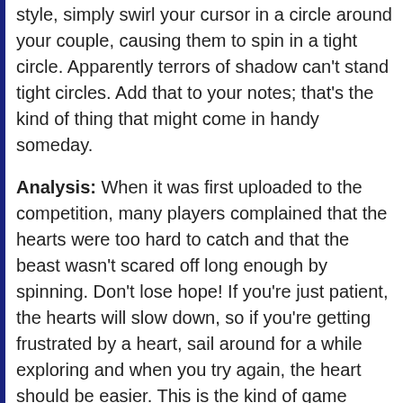he's cramping your style, simply swirl your cursor in a circle around your couple, causing them to spin in a tight circle. Apparently terrors of shadow can't stand tight circles. Add that to your notes; that's the kind of thing that might come in handy someday.
Analysis: When it was first uploaded to the competition, many players complained that the hearts were too hard to catch and that the beast wasn't scared off long enough by spinning. Don't lose hope! If you're just patient, the hearts will slow down, so if you're getting frustrated by a heart, sail around for a while exploring and when you try again, the heart should be easier. This is the kind of game that's supposed to be about freedom, about exploring the heights and the depths with no limits, not about tossing your mouse across the room because once again a